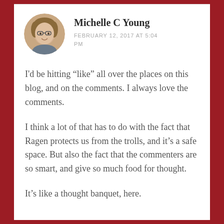[Figure (photo): Circular avatar photo of Michelle C Young, a woman with glasses and light brown hair]
Michelle C Young
FEBRUARY 12, 2017 AT 5:04 PM
I'd be hitting “like” all over the places on this blog, and on the comments. I always love the comments.
I think a lot of that has to do with the fact that Ragen protects us from the trolls, and it’s a safe space. But also the fact that the commenters are so smart, and give so much food for thought.
It’s like a thought banquet, here.